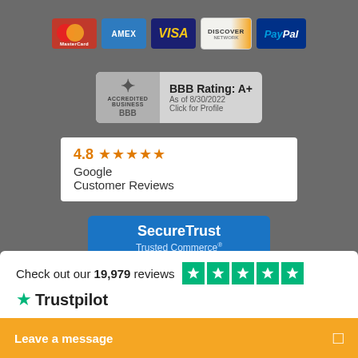[Figure (logo): Payment method logos: MasterCard, AMEX, VISA, DISCOVER, PayPal]
[Figure (logo): BBB Accredited Business badge - BBB Rating: A+, As of 8/30/2022, Click for Profile]
[Figure (infographic): Google Customer Reviews badge showing 4.8 rating with orange stars]
[Figure (logo): SecureTrust Trusted Commerce - Click to Validate badge]
Check out our 19,979 reviews
[Figure (logo): Trustpilot logo with green star]
[Figure (infographic): Leave a message button (orange)]